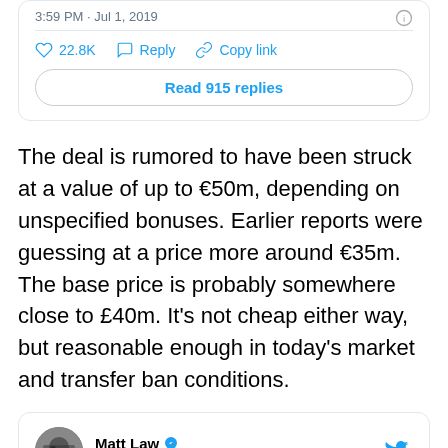3:59 PM · Jul 1, 2019
♡ 22.8K  Reply  Copy link
Read 915 replies
The deal is rumored to have been struck at a value of up to €50m, depending on unspecified bonuses. Earlier reports were guessing at a price more around €35m. The base price is probably somewhere close to £40m. It's not cheap either way, but reasonable enough in today's market and transfer ban conditions.
Matt Law @Matt_Law_DT · Follow
Kovacic fee just over £40million